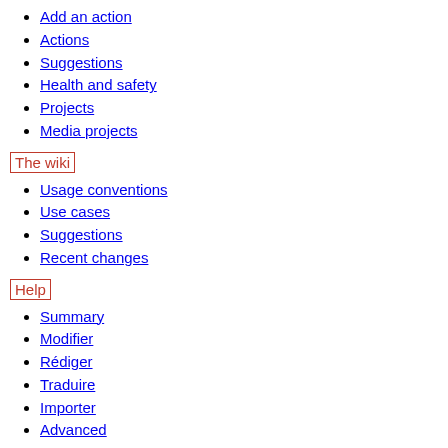Add an action
Actions
Suggestions
Health and safety
Projects
Media projects
The wiki
Usage conventions
Use cases
Suggestions
Recent changes
Help
Summary
Modifier
Rédiger
Traduire
Importer
Advanced
TOOLBOX